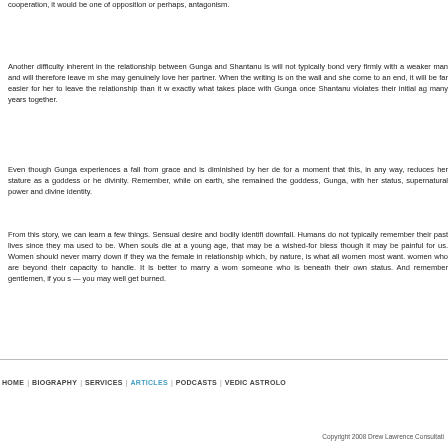cooperation, it would be one of opposition or perhaps, antagonism.
Another difficulty inherent in the relationship between Gunga and Shantanu is will not typically bond very firmly with a weaker man and will therefore leave m she may genuinely love her partner. When the writing is on the wall and she come to an end, it will be far easier for her to leave the relationship than it w exactly what takes place with Gunga once Shantanu violates their initial ag many years together.
Even though Gunga experiences a fall from grace and is diminished by her de for a moment that this, in any way, reduces her stature as a goddess or he divinity. Remember, while on earth, she remained the goddess, Gunga, with her status, supernatural power and divine identity.
From this story, we can learn a few things. Sensual desire and bodily identifi downfall. Humans do not typically remember their past lives since they ma used to be. When souls die at a young age, that may be a wished-for bless though it may be painful for us. Women should never marry down if they wa the female in relationship which, by nature, is what all women most want. women who are beyond their capacity to handle. It is better to marry a wom someone who is beneath their own status. And remember gentlemen, if you s — you may well get burned.
HOME | BIOGRAPHY | SERVICES | ARTICLES | PODCASTS | VEDIC ASTROLO
Copyright 2008 Drew Lawrence Consultati